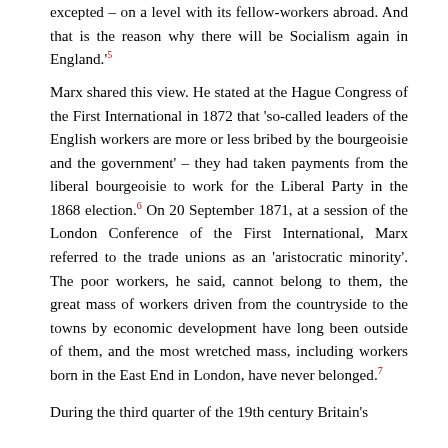excepted – on a level with its fellow-workers abroad. And that is the reason why there will be Socialism again in England.'5
Marx shared this view. He stated at the Hague Congress of the First International in 1872 that 'so-called leaders of the English workers are more or less bribed by the bourgeoisie and the government' – they had taken payments from the liberal bourgeoisie to work for the Liberal Party in the 1868 election.6 On 20 September 1871, at a session of the London Conference of the First International, Marx referred to the trade unions as an 'aristocratic minority'. The poor workers, he said, cannot belong to them, the great mass of workers driven from the countryside to the towns by economic development have long been outside of them, and the most wretched mass, including workers born in the East End in London, have never belonged.7
During the third quarter of the 19th century Britain's